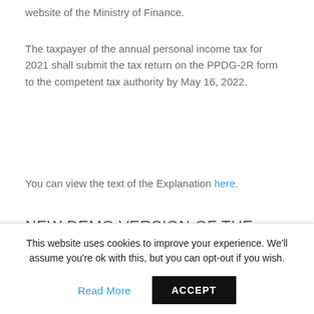website of the Ministry of Finance.
The taxpayer of the annual personal income tax for 2021 shall submit the tax return on the PPDG-2R form to the competent tax authority by May 16, 2022.
You can view the text of the Explanation here.
NEW DEMO VERSION OF THE
This website uses cookies to improve your experience. We'll assume you're ok with this, but you can opt-out if you wish.
Read More  ACCEPT